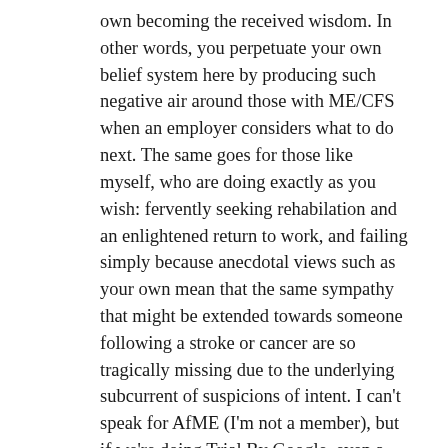own becoming the received wisdom. In other words, you perpetuate your own belief system here by producing such negative air around those with ME/CFS when an employer considers what to do next. The same goes for those like myself, who are doing exactly as you wish: fervently seeking rehabilation and an enlightened return to work, and failing simply because anecdotal views such as your own mean that the same sympathy that might be extended towards someone following a stroke or cancer are so tragically missing due to the underlying subcurrent of suspicions of intent. I can't speak for AfME (I'm not a member), but if we're doing Trial By Google, even a cursory glance at support groups for ME on the internet will show many a positive interchange between sufferers concerning return to employment amid the current widely-derogatory framework in which our illness is placed: such return something I and everyone I know with the slimmest chance persistently seek. Conversely I could cite a hundred other patient support sites for different